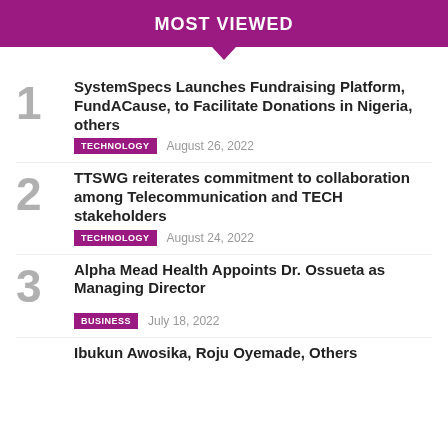MOST VIEWED
1. SystemSpecs Launches Fundraising Platform, FundACause, to Facilitate Donations in Nigeria, others | TECHNOLOGY | August 26, 2022
2. TTSWG reiterates commitment to collaboration among Telecommunication and TECH stakeholders | TECHNOLOGY | August 24, 2022
3. Alpha Mead Health Appoints Dr. Ossueta as Managing Director | BUSINESS | July 18, 2022
4. Ibukun Awosika, Roju Oyemade, Others (partial)